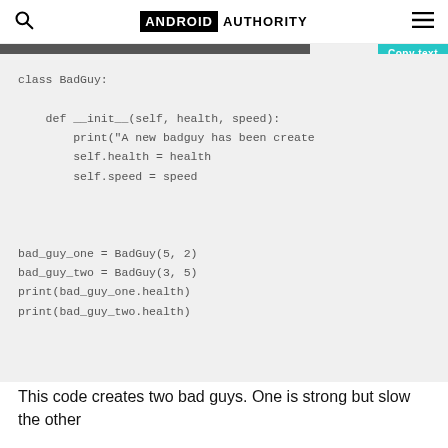ANDROID AUTHORITY
[Figure (screenshot): Code block showing Python class BadGuy with __init__ method and instantiation examples]
This code creates two bad guys. One is strong but slow the other...